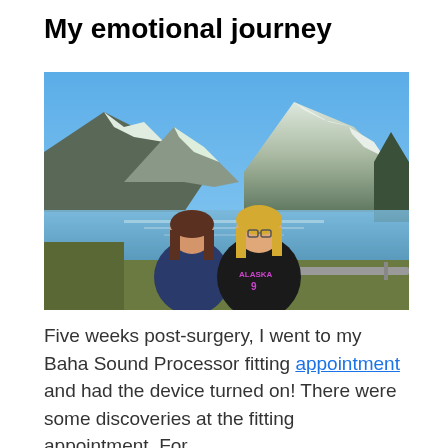My emotional journey
[Figure (photo): Two women posing together outdoors in front of a scenic Alaskan lake with snow-capped mountains in the background. One woman has brown hair and wears a navy hoodie; the other has blonde hair and wears a black Alaska hoodie.]
Five weeks post-surgery, I went to my Baha Sound Processor fitting appointment and had the device turned on! There were some discoveries at the fitting appointment. For